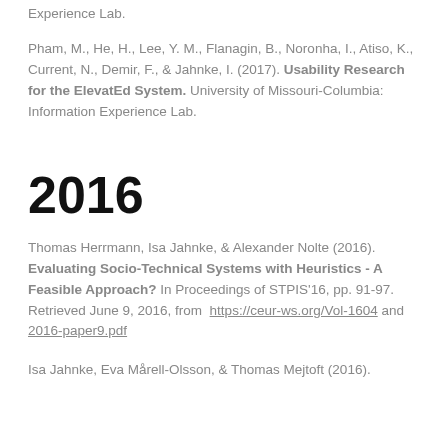Experience Lab.
Pham, M., He, H., Lee, Y. M., Flanagin, B., Noronha, I., Atiso, K., Current, N., Demir, F., & Jahnke, I. (2017). Usability Research for the ElevatEd System. University of Missouri-Columbia: Information Experience Lab.
2016
Thomas Herrmann, Isa Jahnke, & Alexander Nolte (2016). Evaluating Socio-Technical Systems with Heuristics - A Feasible Approach? In Proceedings of STPIS'16, pp. 91-97. Retrieved June 9, 2016, from https://ceur-ws.org/Vol-1604 and 2016-paper9.pdf
Isa Jahnke, Eva Mårell-Olsson, & Thomas Mejtoft (2016).